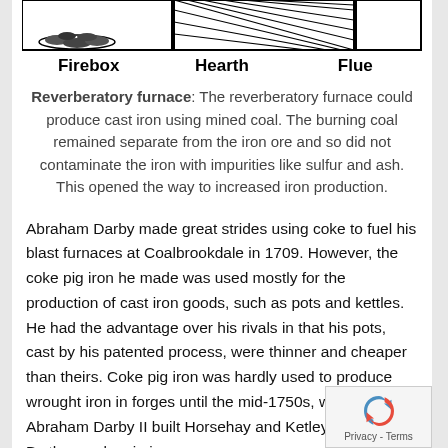[Figure (illustration): Diagram of a reverberatory furnace showing three sections with hatched patterns and a pile of coal/ore in the first section (Firebox), a hearth section in the middle, and a flue on the right, all separated by walls.]
Firebox    Hearth    Flue
Reverberatory furnace: The reverberatory furnace could produce cast iron using mined coal. The burning coal remained separate from the iron ore and so did not contaminate the iron with impurities like sulfur and ash. This opened the way to increased iron production.
Abraham Darby made great strides using coke to fuel his blast furnaces at Coalbrookdale in 1709. However, the coke pig iron he made was used mostly for the production of cast iron goods, such as pots and kettles. He had the advantage over his rivals in that his pots, cast by his patented process, were thinner and cheaper than theirs. Coke pig iron was hardly used to produce wrought iron in forges until the mid-1750s, when his son Abraham Darby II built Horsehay and Ketley furnaces. By then, coke pig iron was